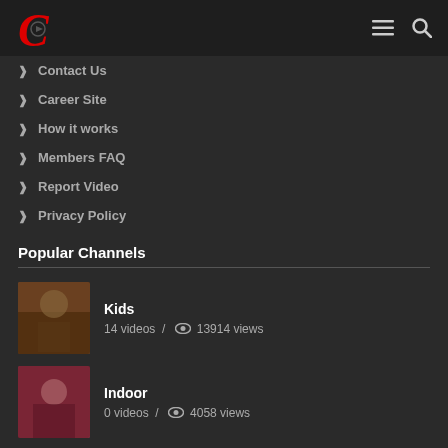C [logo] — navigation header with hamburger menu and search icon
Contact Us
Career Site
How it works
Members FAQ
Report Video
Privacy Policy
Popular Channels
Kids — 14 videos / 13914 views
Indoor — 0 videos / 4058 views